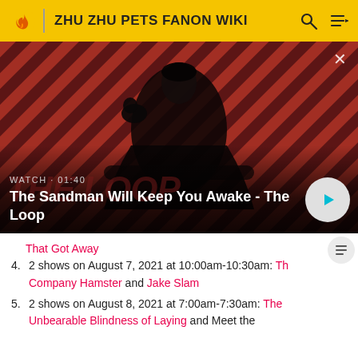ZHU ZHU PETS FANON WIKI
[Figure (screenshot): Hero promotional image for 'The Sandman Will Keep You Awake - The Loop' with a dark figure wearing a black cloak and a raven on his shoulder, against a red and dark diagonal striped background. Shows WATCH · 01:40 label and a play button.]
That Got Away
4. 2 shows on August 7, 2021 at 10:00am-10:30am: The Company Hamster and Jake Slam
5. 2 shows on August 8, 2021 at 7:00am-7:30am: The Unbearable Blindness of Laying and Meet the